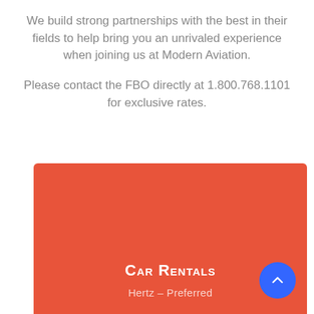We build strong partnerships with the best in their fields to help bring you an unrivaled experience when joining us at Modern Aviation.
Please contact the FBO directly at 1.800.768.1101 for exclusive rates.
Car Rentals
Hertz – Preferred